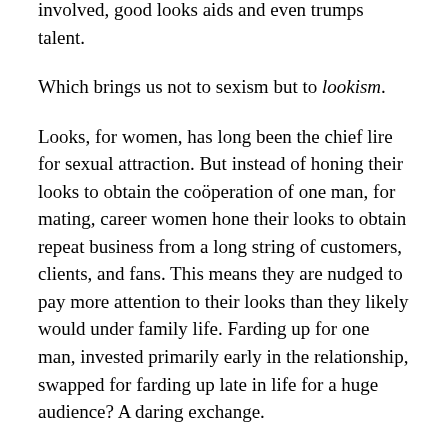involved, good looks aids and even trumps talent.
Which brings us not to sexism but to lookism.
Looks, for women, has long been the chief lire for sexual attraction. But instead of honing their looks to obtain the coöperation of one man, for mating, career women hone their looks to obtain repeat business from a long string of customers, clients, and fans. This means they are nudged to pay more attention to their looks than they likely would under family life. Farding up for one man, invested primarily early in the relationship, swapped for farding up late in life for a huge audience? A daring exchange.
What a woman who swaps marriage for career finds out is what many men have long known: whoring is at the core of capitalism. The woman who marries and has children does is whore herself but once. In a career, she does what